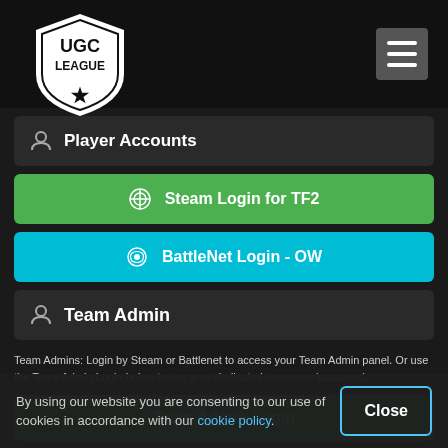[Figure (logo): UGC League shield logo with white shield, star, and text 'UGC LEAGUE']
Player Accounts
Steam Login for TF2
BattleNet Login - OW
Team Admin
Team Admins: Login by Steam or Battlenet to access your Team Admin panel. Or use the Team Admin Login below to use your dedicated username/password.
Team Admin Login
UGC Discord
By using our website you are consenting to our use of cookies in accordance with our cookie policy.